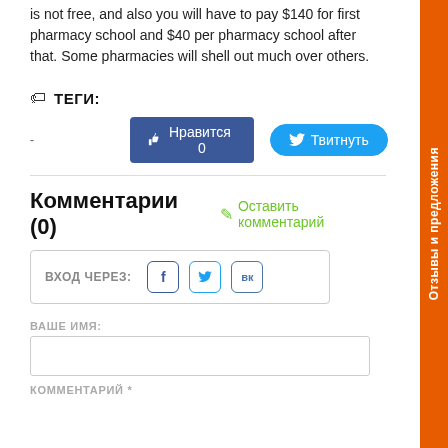is not free, and also you will have to pay $140 for first pharmacy school and $40 per pharmacy school after that. Some pharmacies will shell out much over others.
ТЕГИ:
[Figure (other): Social sharing buttons: dash, Нравится 0 (Facebook like button), Твитнуть (Twitter tweet button)]
Комментарии (0)
Оставить комментарий
ВХОД ЧЕРЕЗ: (Facebook, Twitter, VK icons)
ВАШЕ ИМЯ:
КОММЕНТАРИЙ *